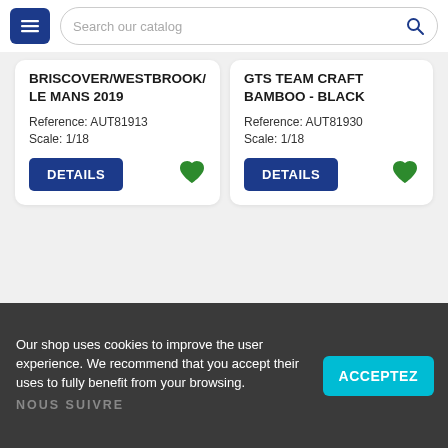Search our catalog
BRISCOVER/WESTBROOK/LE MANS 2019
Reference: AUT81913
Scale: 1/18
GTS TEAM CRAFT BAMBOO - BLACK
Reference: AUT81930
Scale: 1/18
Showing 1-36 of 1697 item(s)
< PREVIOUS  1  2  3  ...  48  NEXT >
Our shop uses cookies to improve the user experience. We recommend that you accept their uses to fully benefit from your browsing.
NOUS SUIVRE